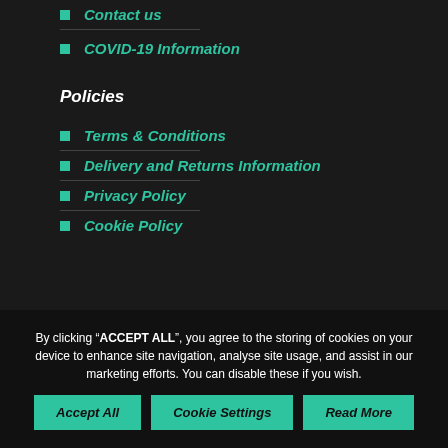Contact us
COVID-19 Information
Policies
Terms & Conditions
Delivery and Returns Information
Privacy Policy
Cookie Policy
By clicking “ACCEPT ALL”, you agree to the storing of cookies on your device to enhance site navigation, analyse site usage, and assist in our marketing efforts. You can disable these if you wish.
Accept All | Cookie Settings | Read More